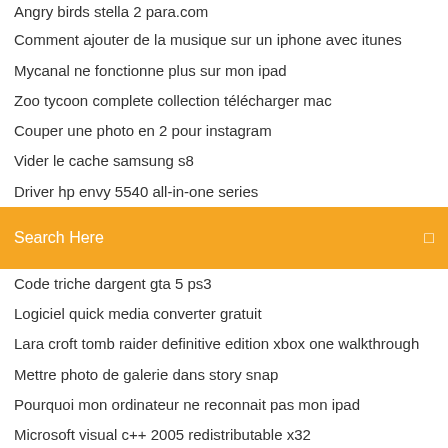Angry birds stella 2 para.com
Comment ajouter de la musique sur un iphone avec itunes
Mycanal ne fonctionne plus sur mon ipad
Zoo tycoon complete collection télécharger mac
Couper une photo en 2 pour instagram
Vider le cache samsung s8
Driver hp envy 5540 all-in-one series
[Figure (screenshot): Search bar with orange background and text 'Search Here']
Code triche dargent gta 5 ps3
Logiciel quick media converter gratuit
Lara croft tomb raider definitive edition xbox one walkthrough
Mettre photo de galerie dans story snap
Pourquoi mon ordinateur ne reconnait pas mon ipad
Microsoft visual c++ 2005 redistributable x32
Halo wars 2 pc crashing
Comment savoir si windows xp 32 ou 64 bits
Attack on titan games for phone